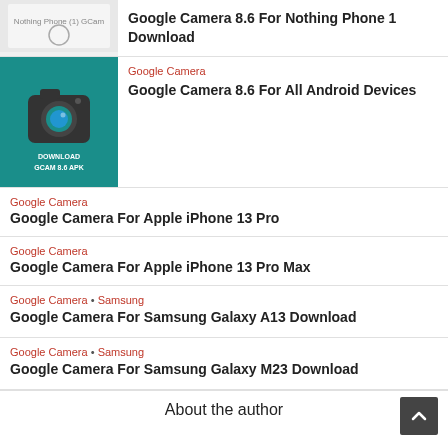Google Camera 8.6 For Nothing Phone 1 Download
[Figure (screenshot): Nothing Phone (1) GCam thumbnail image]
Google Camera
Google Camera 8.6 For All Android Devices
[Figure (photo): Teal background with camera icon and text DOWNLOAD GCAM 8.6 APK]
Google Camera
Google Camera For Apple iPhone 13 Pro
Google Camera • Samsung
Google Camera For Samsung Galaxy A13 Download
Google Camera • Samsung
Google Camera For Samsung Galaxy M23 Download
About the author